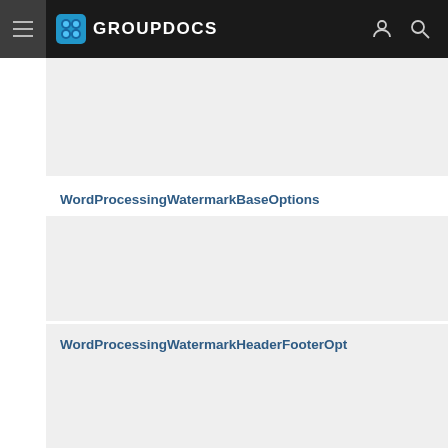GROUPDOCS
WordProcessingWatermarkBaseOptions
WordProcessingWatermarkHeaderFooterOpt
WordProcessingWatermarkOptions